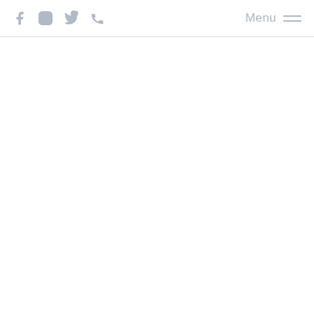Social icons (Facebook, Instagram, Twitter, Phone) on left; Menu with hamburger on right